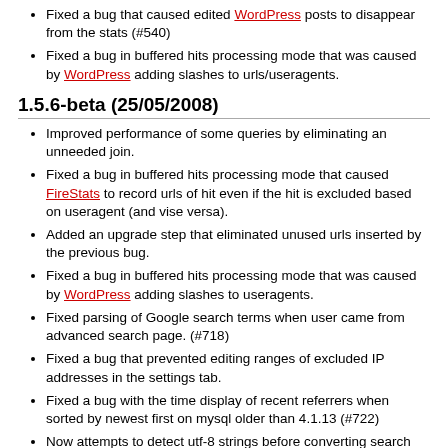Fixed a bug that caused edited WordPress posts to disappear from the stats (#540)
Fixed a bug in buffered hits processing mode that was caused by WordPress adding slashes to urls/useragents.
1.5.6-beta (25/05/2008)
Improved performance of some queries by eliminating an unneeded join.
Fixed a bug in buffered hits processing mode that caused FireStats to record urls of hit even if the hit is excluded based on useragent (and vise versa).
Added an upgrade step that eliminated unused urls inserted by the previous bug.
Fixed a bug in buffered hits processing mode that was caused by WordPress adding slashes to useragents.
Fixed parsing of Google search terms when user came from advanced search page. (#718)
Fixed a bug that prevented editing ranges of excluded IP addresses in the settings tab.
Fixed a bug with the time display of recent referrers when sorted by newest first on mysql older than 4.1.13 (#722)
Now attempts to detect utf-8 strings before converting search terms to utf-8 (#707)
Updated ip2c database to version 2008.05.01
1.5.5.RC3 (11/05/2008)
Fixed a bug causing Call to undefined function: